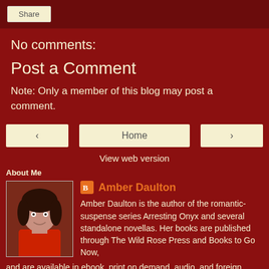[Figure (screenshot): Share button in a dark red bar at the top of the page]
No comments:
Post a Comment
Note: Only a member of this blog may post a comment.
[Figure (screenshot): Navigation buttons: left arrow, Home, right arrow, and View web version link]
About Me
[Figure (photo): Profile photo of Amber Daulton - a woman with dark hair wearing a red top]
Amber Daulton
Amber Daulton is the author of the romantic-suspense series Arresting Onyx and several standalone novellas. Her books are published through The Wild Rose Press and Books to Go Now, and are available in ebook, print on demand, audio, and foreign